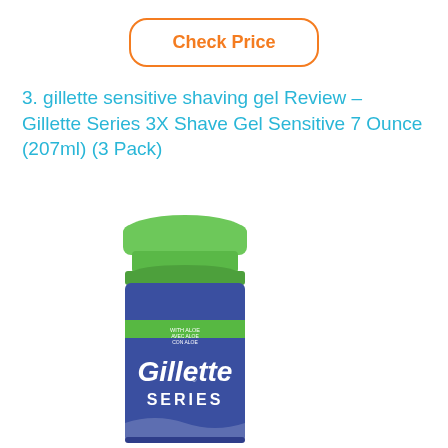Check Price
3. gillette sensitive shaving gel Review – Gillette Series 3X Shave Gel Sensitive 7 Ounce (207ml) (3 Pack)
[Figure (photo): Gillette Series shaving gel can with green cap and blue body, showing the Gillette Series branding]